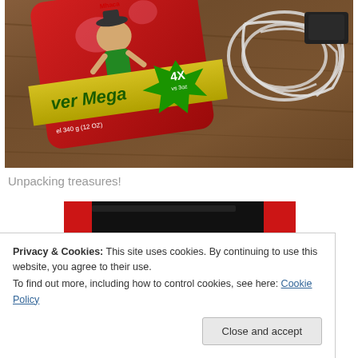[Figure (photo): Photo of a red snack package labeled 'Super Mega' with a yellow band and green starburst showing '4X', placed on a wooden table alongside tangled white earphones/earbuds]
Unpacking treasures!
[Figure (photo): Partial photo showing a red box being opened, revealing a dark item inside]
Privacy & Cookies: This site uses cookies. By continuing to use this website, you agree to their use.
To find out more, including how to control cookies, see here: Cookie Policy
Close and accept